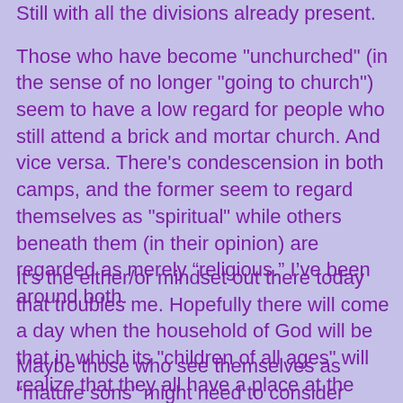Still with all the divisions already present. Those who have become "unchurched" (in the sense of no longer "going to church") seem to have a low regard for people who still attend a brick and mortar church. And vice versa. There’s condescension in both camps, and the former seem to regard themselves as "spiritual" while others beneath them (in their opinion) are regarded as merely “religious.” I’ve been around both.
It's the either/or mindset out there today that troubles me. Hopefully there will come a day when the household of God will be that in which its "children of all ages" will realize that they all have a place at the table in the House of the Lord.
Maybe those who see themselves as “mature sons” might need to consider sticking around and becoming the other position of the...